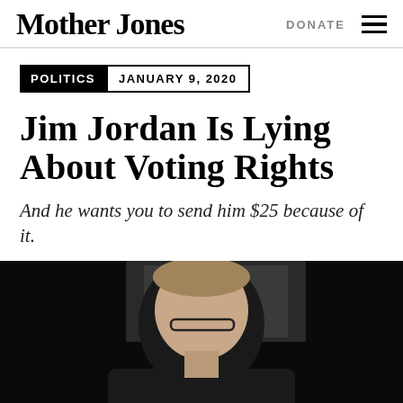Mother Jones
DONATE
POLITICS  JANUARY 9, 2020
Jim Jordan Is Lying About Voting Rights
And he wants you to send him $25 because of it.
MATT COHEN
Fellow
Bio
[Figure (photo): Photo of a man (Jim Jordan) at a hearing, partial view showing top of head and glasses, dark background]